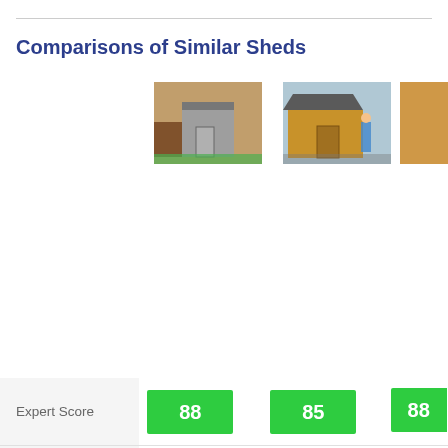Comparisons of Similar Sheds
|  | Shed 1 | Shed 2 | Shed 3 |
| --- | --- | --- | --- |
| Expert Score | 88 | 85 | 88 |
| Price | £254.00 | £2,469.00 | £229. |
| Size | 3' x 2' | 10' x 8' | 4' x 2 |
| Brand | Rowlinson | Shed Republic Ultimate | Rowli |
| Material | Wooden | Wooden | Wood |
| Cladding Thickness | 12mm | 12mm | 12mm |